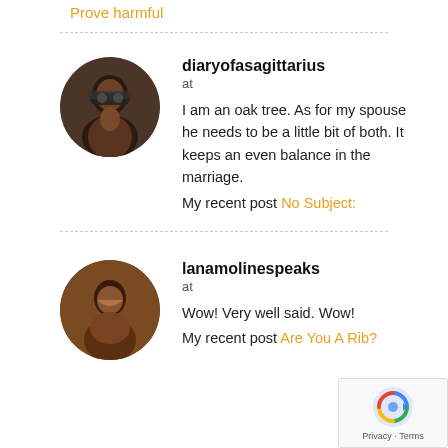Prove harmful
diaryofasagittarius
at
I am an oak tree. As for my spouse he needs to be a little bit of both. It keeps an even balance in the marriage.
My recent post No Subject:
lanamolinespeaks
at
Wow! Very well said. Wow!
My recent post Are You A Rib?